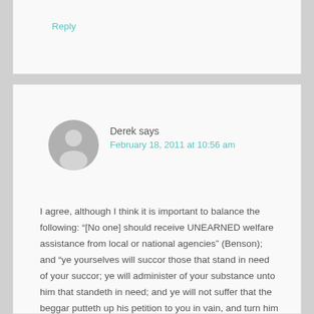Reply
Derek says
February 18, 2011 at 10:56 am
I agree, although I think it is important to balance the following: “[No one] should receive UNEARNED welfare assistance from local or national agencies” (Benson); and “ye yourselves will succor those that stand in need of your succor; ye will administer of your substance unto him that standeth in need; and ye will not suffer that the beggar putteth up his petition to you in vain, and turn him out to perish” (Mosiah